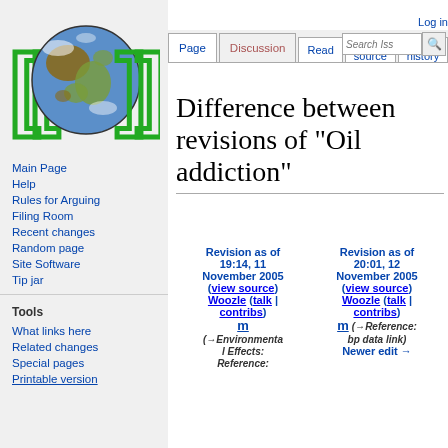[Figure (logo): Wikipedia-like globe logo with green double-bracket decorations on left and right sides]
Main Page
Help
Rules for Arguing
Filing Room
Recent changes
Random page
Site Software
Tip jar
Tools
What links here
Related changes
Special pages
Printable version
Log in
Difference between revisions of "Oil addiction"
| Revision as of 19:14, 11 November 2005 (view source) | Revision as of 20:01, 12 November 2005 (view source) |
| --- | --- |
| Woozle (talk | contribs) | Woozle (talk | contribs) |
| m | m (→Reference: bp data link) |
| (→Environmental Effects: Reference: | Newer edit → |